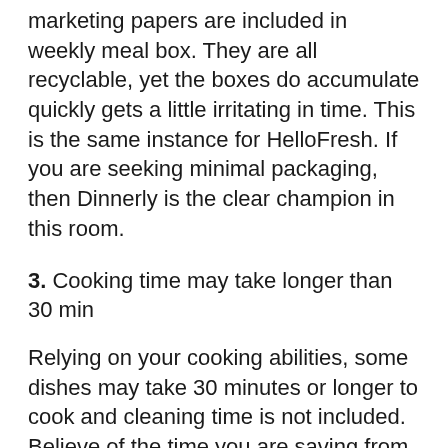marketing papers are included in weekly meal box. They are all recyclable, yet the boxes do accumulate quickly gets a little irritating in time. This is the same instance for HelloFresh. If you are seeking minimal packaging, then Dinnerly is the clear champion in this room.
3. Cooking time may take longer than 30 min
Relying on your cooking abilities, some dishes may take 30 minutes or longer to cook and cleaning time is not included. Believe of the time you are saving from the grocery store queues!
4. Refund is based upon installment plan